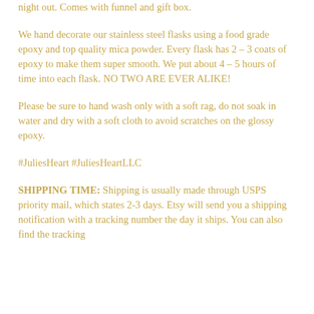night out. Comes with funnel and gift box.
We hand decorate our stainless steel flasks using a food grade epoxy and top quality mica powder. Every flask has 2 – 3 coats of epoxy to make them super smooth. We put about 4 – 5 hours of time into each flask. NO TWO ARE EVER ALIKE!
Please be sure to hand wash only with a soft rag, do not soak in water and dry with a soft cloth to avoid scratches on the glossy epoxy.
#JuliesHeart #JuliesHeartLLC
SHIPPING TIME: Shipping is usually made through USPS priority mail, which states 2-3 days. Etsy will send you a shipping notification with a tracking number the day it ships. You can also find the tracking